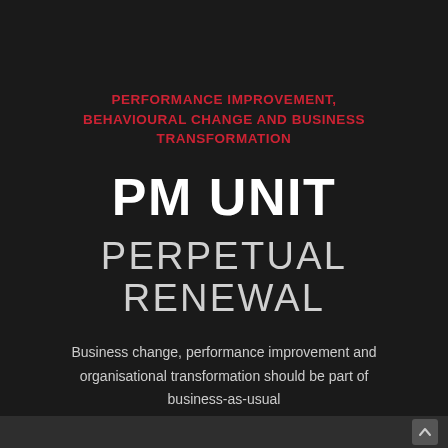PERFORMANCE IMPROVEMENT, BEHAVIOURAL CHANGE AND BUSINESS TRANSFORMATION
PM UNIT
PERPETUAL RENEWAL
Business change, performance improvement and organisational transformation should be part of business-as-usual